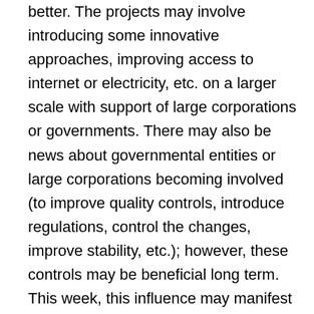better. The projects may involve introducing some innovative approaches, improving access to internet or electricity, etc. on a larger scale with support of large corporations or governments. There may also be news about governmental entities or large corporations becoming involved (to improve quality controls, introduce regulations, control the changes, improve stability, etc.); however, these controls may be beneficial long term. This week, this influence may manifest as long-term plans involving steel, construction, repairs, building of some large machinery or objects (e.g., trains, submarines, ships, engines, turbines, etc.), and/or sales/trade [plans, agreements, negotiations] of such large machinery or objects (e.g., of some turbines for power plant industry, steel, construction materials, large high tech equipment for mining, etc.). There may also be increased focus on